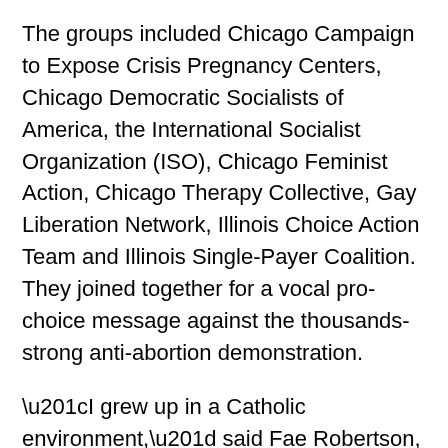The groups included Chicago Campaign to Expose Crisis Pregnancy Centers, Chicago Democratic Socialists of America, the International Socialist Organization (ISO), Chicago Feminist Action, Chicago Therapy Collective, Gay Liberation Network, Illinois Choice Action Team and Illinois Single-Payer Coalition. They joined together for a vocal pro-choice message against the thousands-strong anti-abortion demonstration.
“I grew up in a Catholic environment,” said Fae Robertson, speaking for the ISO. “They would bus us to these rallies for extra credit. But I know they don’t actually care about the tragedies and struggles of Black women on a day-to-day basis. “I learned from my experiences the importance of autonomy and that women must have a choice. I am here today to assert my right to comprehensive health care.” The DSA brought out members beyond their chapters, connecting the fight for Medicare for All and reproductive justice.
At one point, six masked members of the new Nazi group